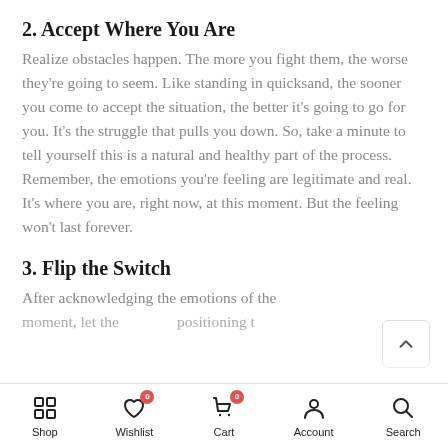2. Accept Where You Are
Realize obstacles happen. The more you fight them, the worse they're going to seem. Like standing in quicksand, the sooner you come to accept the situation, the better it's going to go for you. It's the struggle that pulls you down. So, take a minute to tell yourself this is a natural and healthy part of the process. Remember, the emotions you're feeling are legitimate and real. It's where you are, right now, at this moment. But the feeling won't last forever.
3. Flip the Switch
After acknowledging the emotions of the moment, let the…
Shop  Wishlist  Cart  Account  Search